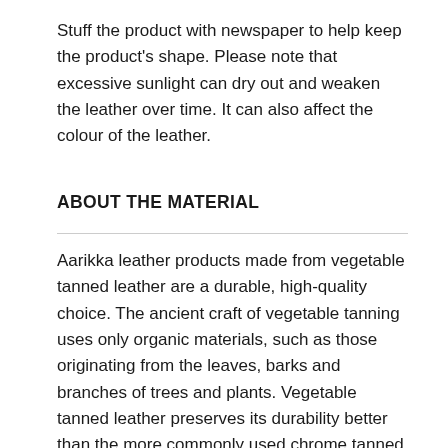Stuff the product with newspaper to help keep the product's shape. Please note that excessive sunlight can dry out and weaken the leather over time. It can also affect the colour of the leather.
ABOUT THE MATERIAL
Aarikka leather products made from vegetable tanned leather are a durable, high-quality choice. The ancient craft of vegetable tanning uses only organic materials, such as those originating from the leaves, barks and branches of trees and plants. Vegetable tanned leather preserves its durability better than the more commonly used chrome tanned leather. The use of vegetable tanning with modern production planning and recycling solutions also secures the product with a smaller